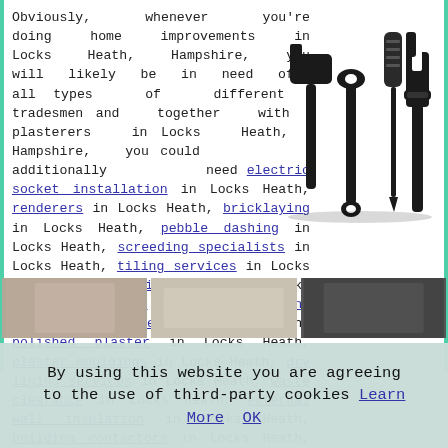Obviously, whenever you're doing home improvements in Locks Heath, Hampshire, you will likely be in need of all types of different tradesmen and together with plasterers in Locks Heath, Hampshire, you could additionally need electric socket installation in Locks Heath, renderers in Locks Heath, bricklaying in Locks Heath, pebble dashing in Locks Heath, screeding specialists in Locks Heath, tiling services in Locks Heath, cornice installers in Locks Heath, carpenters in Locks Heath, end of tenancy cleaners in Locks Heath, polished plaster in Locks Heath, plaster mouldings in Locks Heath, dry lining services in Locks Heath, waste clearance in Locks Heath, external wall insulation in Locks Heath, building contactors in Locks Heath, plasterboard installation in Locks Heath, decorators in Locks Heath or artex removal in Locks Heath.
[Figure (illustration): Silhouette icons of tools: hammer, wrench, screwdriver, adjustable wrench]
[Figure (photo): Strip of three photos at the bottom of the content area]
By using this website you are agreeing to the use of third-party cookies Learn More OK